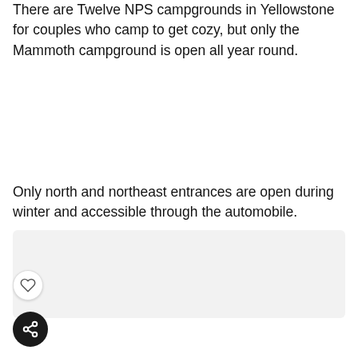There are Twelve NPS campgrounds in Yellowstone for couples who camp to get cozy, but only the Mammoth campground is open all year round.
Only north and northeast entrances are open during winter and accessible through the automobile.
[Figure (other): Light gray rectangular image placeholder area]